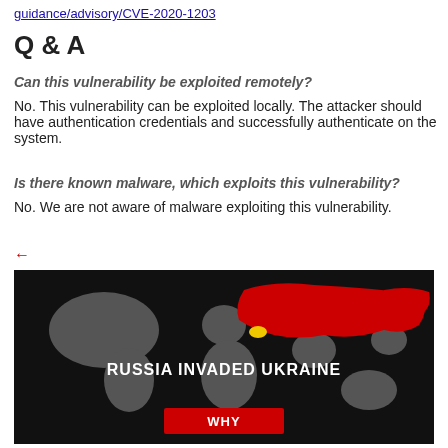guidance/advisory/CVE-2020-1203
Q & A
Can this vulnerability be exploited remotely?
No. This vulnerability can be exploited locally. The attacker should have authentication credentials and successfully authenticate on the system.
Is there known malware, which exploits this vulnerability?
No. We are not aware of malware exploiting this vulnerability.
←
[Figure (map): World map with Russia highlighted in red and Ukraine highlighted in yellow, with text 'RUSSIA INVADED UKRAINE' and a red 'WHY' button overlay on black background.]